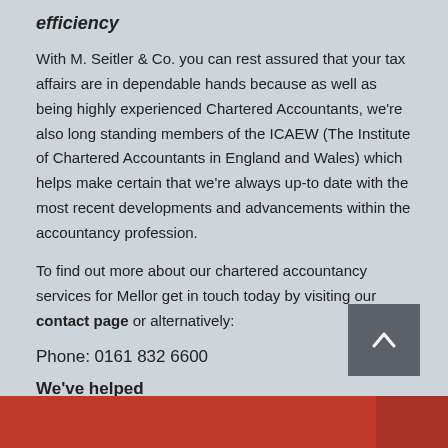efficiency
With M. Seitler & Co. you can rest assured that your tax affairs are in dependable hands because as well as being highly experienced Chartered Accountants, we're also long standing members of the ICAEW (The Institute of Chartered Accountants in England and Wales) which helps make certain that we're always up-to date with the most recent developments and advancements within the accountancy profession.
To find out more about our chartered accountancy services for Mellor get in touch today by visiting our contact page or alternatively:
Phone: 0161 832 6600
We've helped